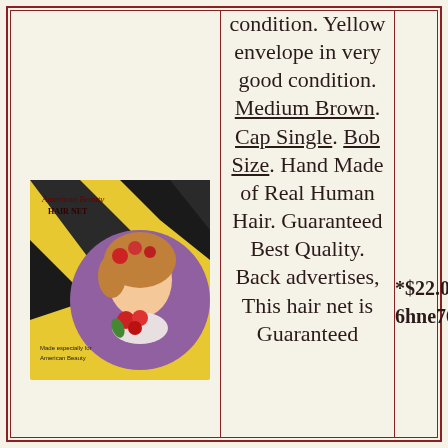[Figure (photo): American Beauty Hair Net product package showing a woman with flowers in her hair on a yellow envelope with dark geometric design]
condition. Yellow envelope in very good condition. Medium Brown. Cap Single. Bob Size. Hand Made of Real Human Hair. Guaranteed Best Quality. Back advertises, This hair net is Guaranteed
*$22.00
6hne76